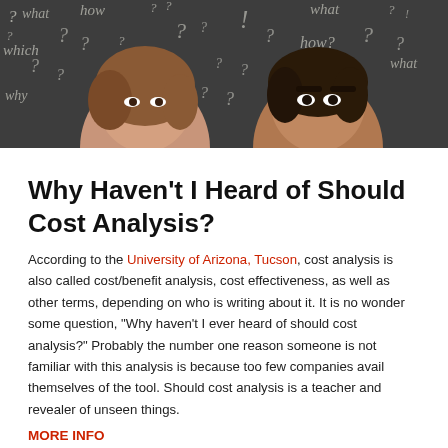[Figure (photo): Two people (a young woman and a young man) peeking up from the bottom of a chalkboard covered in question marks and words like 'what', 'how', 'which', 'why', 'where', 'how much']
Why Haven’t I Heard of Should Cost Analysis?
According to the University of Arizona, Tucson, cost analysis is also called cost/benefit analysis, cost effectiveness, as well as other terms, depending on who is writing about it. It is no wonder some question, "Why haven’t I ever heard of should cost analysis?" Probably the number one reason someone is not familiar with this analysis is because too few companies avail themselves of the tool. Should cost analysis is a teacher and revealer of unseen things.
MORE INFO